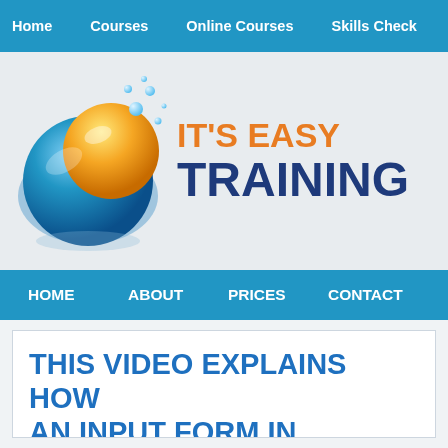Home   Courses   Online Courses   Skills Check
[Figure (logo): It's Easy Training logo with blue and yellow globe graphic]
HOME   ABOUT   PRICES   CONTACT
THIS VIDEO EXPLAINS HOW AN INPUT FORM IN MICROS